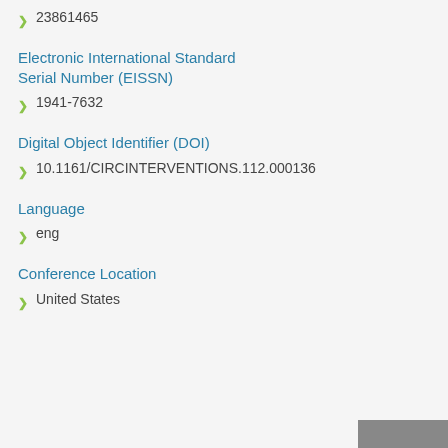23861465
Electronic International Standard Serial Number (EISSN)
1941-7632
Digital Object Identifier (DOI)
10.1161/CIRCINTERVENTIONS.112.000136
Language
eng
Conference Location
United States